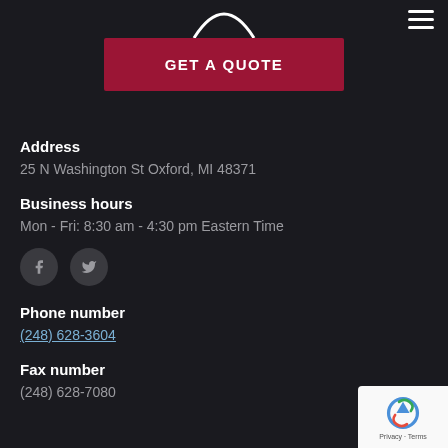[Figure (logo): Partial arc/logo shape at top center, white on dark background]
GET A QUOTE
Address
25 N Washington St Oxford, MI 48371
Business hours
Mon - Fri: 8:30 am - 4:30 pm Eastern Time
[Figure (illustration): Facebook and Twitter social media icons in gray circles]
Phone number
(248) 628-3604
Fax number
(248) 628-7080
[Figure (logo): Google reCAPTCHA badge in bottom right corner]